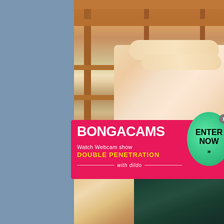[Figure (photo): Photo of wooden shelving unit with a person's bare feet visible on one of the shelves]
[Figure (infographic): BongaCams advertisement banner with pink background. Text reads: BONGACAMS, Watch Webcam show, DOUBLE PENETRATION with dildo. Green circular Enter Now button with close X button.]
[Figure (photo): Adult content photo showing a blonde woman and a dark colored dildo toy]